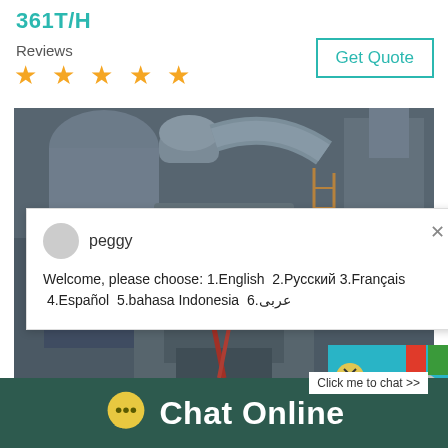361T/H
Reviews
[Figure (other): Five orange star rating icons]
[Figure (other): Get Quote button with teal border]
[Figure (photo): Industrial machinery photo showing large pipes and mechanical equipment in a factory setting]
peggy
Welcome, please choose: 1.English  2.Русский 3.Français  4.Español  5.bahasa Indonesia  6.عربى
Click me to chat >>
Enquiry
Chat Online